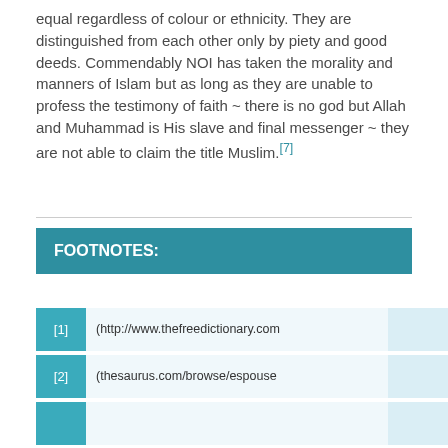equal regardless of colour or ethnicity. They are distinguished from each other only by piety and good deeds. Commendably NOI has taken the morality and manners of Islam but as long as they are unable to profess the testimony of faith ~ there is no god but Allah and Muhammad is His slave and final messenger ~ they are not able to claim the title Muslim.[7]
FOOTNOTES:
[1] (http://www.thefreedictionary.com...
[2] (thesaurus.com/browse/espouse...